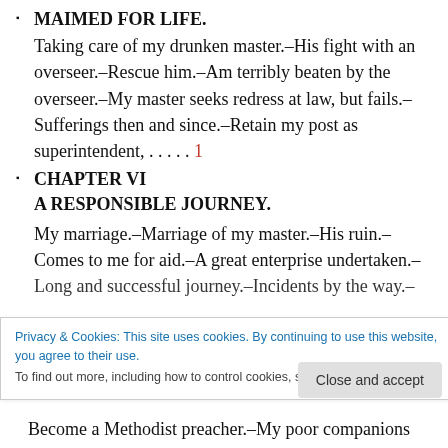MAIMED FOR LIFE. Taking care of my drunken master.–His fight with an overseer.–Rescue him.–Am terribly beaten by the overseer.–My master seeks redress at law, but fails.–Sufferings then and since.–Retain my post as superintendent, . . . . . 1
CHAPTER VI A RESPONSIBLE JOURNEY. My marriage.–Marriage of my master.–His ruin.–Comes to me for aid.–A great enterprise undertaken.–Long and successful journey.–Incidents by the way.–Become a Methodist preacher.–My poor companions
Privacy & Cookies: This site uses cookies. By continuing to use this website, you agree to their use. To find out more, including how to control cookies, see here: Cookie Policy